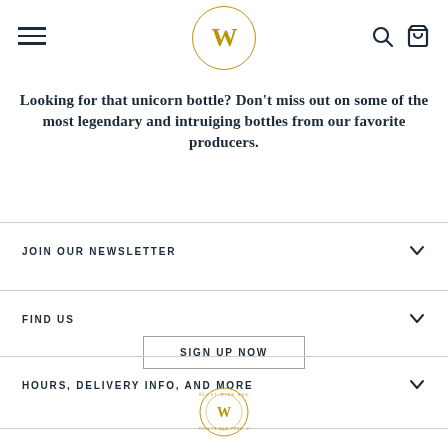[Figure (logo): W logo in gold circle, website header navigation with hamburger menu, search icon, and bag icon]
Looking for that unicorn bottle? Don't miss out on some of the most legendary and intruiging bottles from our favorite producers.
SIGN UP NOW
JOIN OUR NEWSLETTER
FIND US
HOURS, DELIVERY INFO, AND MORE
[Figure (logo): Small circular badge logo with W in center and text around the edge]